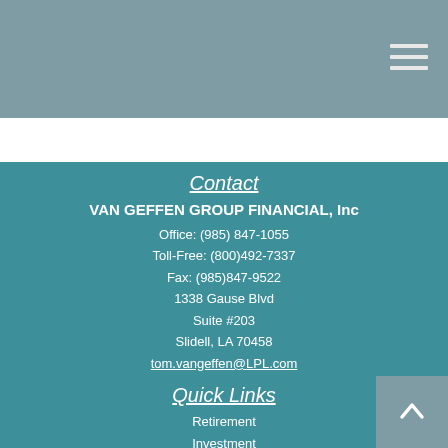[Figure (other): Hamburger menu icon with three horizontal lines in the top-right corner of a gray header bar]
Contact
VAN GEFFEN GROUP FINANCIAL, Inc
Office: (985) 847-1055
Toll-Free: (800)492-7337
Fax: (985)847-9522
1338 Gause Blvd
Suite #203
Slidell, LA 70458
tom.vangeffen@LPL.com
Quick Links
Retirement
Investment
Estate